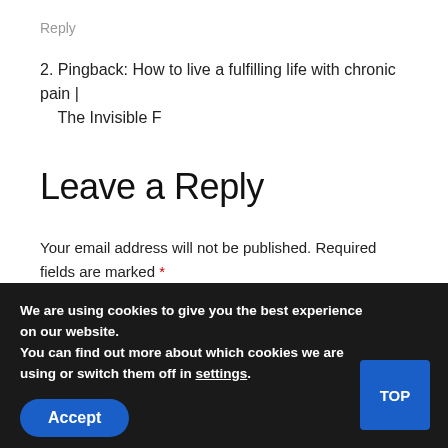Reply
2. Pingback: How to live a fulfilling life with chronic pain | The Invisible F
Leave a Reply
Your email address will not be published. Required fields are marked *
We are using cookies to give you the best experience on our website.
You can find out more about which cookies we are using or switch them off in settings.
Accept
TOP